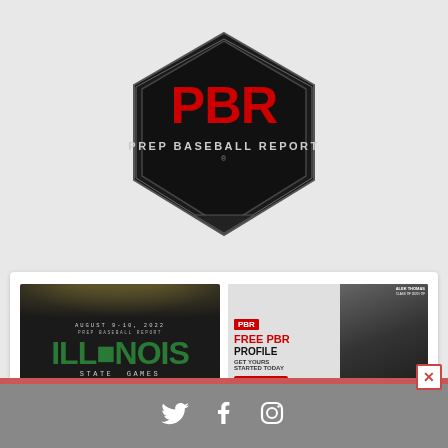[Figure (logo): Prep Baseball Report (PBR) logo — black pentagon/home-plate shape with red PBR letters and 'PREP BASEBALL REPORT' text below, on light gray background]
[Figure (photo): PBR Illinois State Games advertisement banner — August 9-10, 2022, Rantoul Family Sports Complex, dark background with green ILLINOIS text and stadium lights]
[Figure (photo): PBR Free Profile advertisement — red and white, showing player photo (Alek Thomas), 'FREE PBR PROFILE GET YOURS STARTED TODAY CLICK HERE' call to action]
[Figure (illustration): Social media bar with Twitter, Facebook, and Instagram icons in white on gray background, with red top stripe and close (X) button]